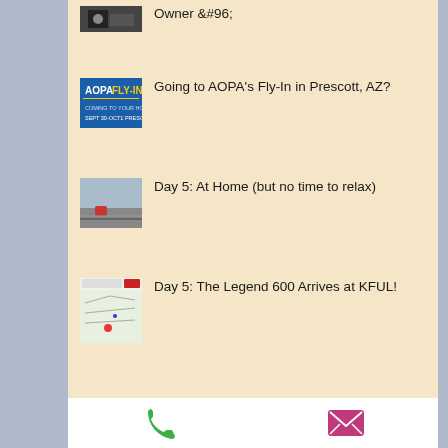Owner `
Going to AOPA's Fly-In in Prescott, AZ?
Day 5: At Home (but no time to relax)
Day 5: The Legend 600 Arrives at KFUL!